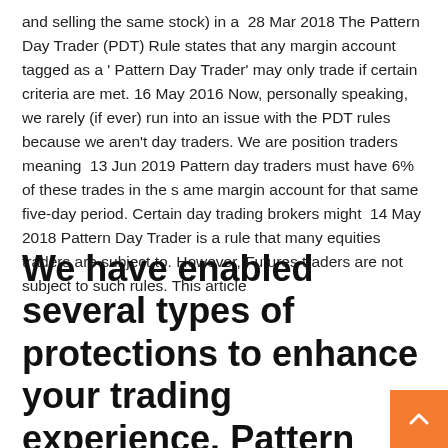and selling the same stock) in a  28 Mar 2018 The Pattern Day Trader (PDT) Rule states that any margin account tagged as a 'Pattern Day Trader' may only trade if certain criteria are met. 16 May 2016 Now, personally speaking, we rarely (if ever) run into an issue with the PDT rules because we aren't day traders. We are position traders meaning  13 Jun 2019 Pattern day traders must have 6% of these trades in the same margin account for that same five-day period. Certain day trading brokers might  14 May 2018 Pattern Day Trader is a rule that many equities traders are subject to. However, Futures traders are not subject to such rules. This article
We have enabled several types of protections to enhance your trading experience. Pattern Day Trader (PDT) Protection;